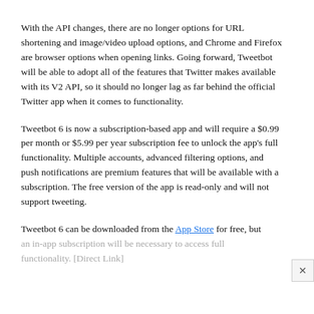With the API changes, there are no longer options for URL shortening and image/video upload options, and Chrome and Firefox are browser options when opening links. Going forward, Tweetbot will be able to adopt all of the features that Twitter makes available with its V2 API, so it should no longer lag as far behind the official Twitter app when it comes to functionality.
Tweetbot 6 is now a subscription-based app and will require a $0.99 per month or $5.99 per year subscription fee to unlock the app's full functionality. Multiple accounts, advanced filtering options, and push notifications are premium features that will be available with a subscription. The free version of the app is read-only and will not support tweeting.
Tweetbot 6 can be downloaded from the App Store for free, but an in-app subscription will be necessary to access full functionality. [Direct Link]